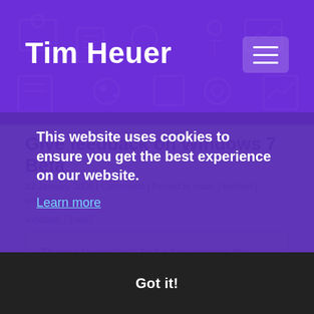Tim Heuer
Give feedback on Windows 7 Beta
12 January 2009 | Comments | Posted in msdn | technet | windows | windows 7 | win7
Thanks for visiting! Just a fair warning this post is fairly 'old' in tech terms and may contain outdated information and/or broken links or pictures. Please verify info and feel free to contact me if questions!
Now that Windows 7 beta has been released, there are quite a few people using it and I've seen pretty positive feedback about it. I've been running it for about a month now and am impressed with the performance over Vista mostly. All my programs continue to run fine (only exception is MagicDisc ISO mounter, but found another
This website uses cookies to ensure you get the best experience on our website.
Learn more
Got it!